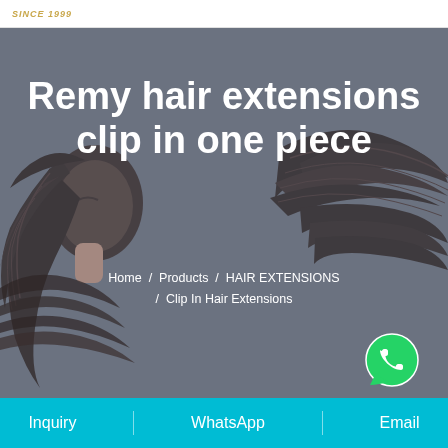SINCE 1999
[Figure (illustration): Decorative illustration of two women with long flowing dark hair on a blue-grey background, used as hero banner background]
Remy hair extensions clip in one piece
Home / Products / HAIR EXTENSIONS / Clip In Hair Extensions
[Figure (logo): WhatsApp green phone icon button in bottom right of hero section]
Inquiry  |  WhatsApp  |  Email